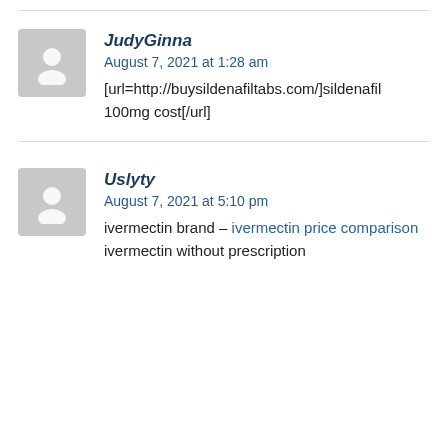JudyGinna
August 7, 2021 at 1:28 am
[url=http://buysildenafiltabs.com/]sildenafil 100mg cost[/url]
Uslyty
August 7, 2021 at 5:10 pm
ivermectin brand – ivermectin price comparison ivermectin without prescription